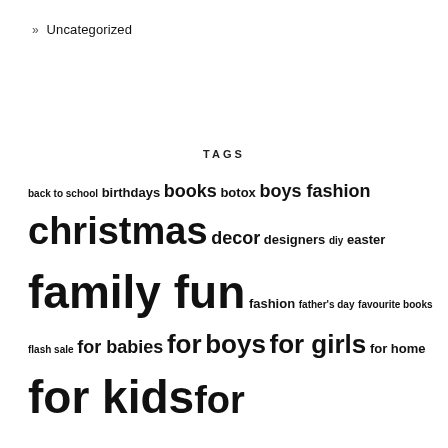» Uncategorized
TAGS
back to school birthdays books botox boys fashion christmas decor designers diy easter family fun fashion father's day favourite books flash sale for babies for boys for girls for home for kids for mammas gift ideas girls fashion giveaways jewellery kids activities kids fashion love this look melbourne mamma